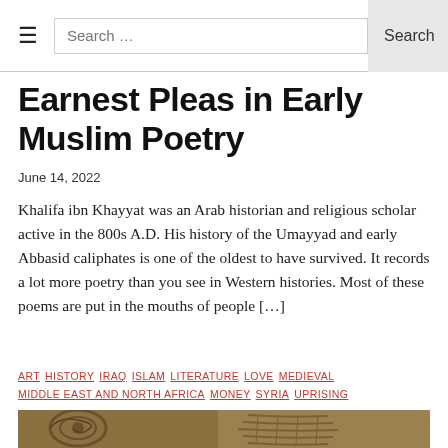☰  Search …  Search
Earnest Pleas in Early Muslim Poetry
June 14, 2022
Khalifa ibn Khayyat was an Arab historian and religious scholar active in the 800s A.D. His history of the Umayyad and early Abbasid caliphates is one of the oldest to have survived. It records a lot more poetry than you see in Western histories. Most of these poems are put in the mouths of people […]
ART  HISTORY  IRAQ  ISLAM  LITERATURE  LOVE  MEDIEVAL  MIDDLE EAST AND NORTH AFRICA  MONEY  SYRIA  UPRISING
[Figure (photo): Stone relief carving showing decorative spiral and feather/scale patterns in earth tones]